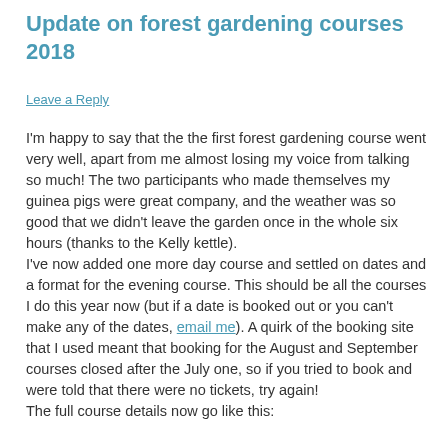Update on forest gardening courses 2018
Leave a Reply
I'm happy to say that the the first forest gardening course went very well, apart from me almost losing my voice from talking so much! The two participants who made themselves my guinea pigs were great company, and the weather was so good that we didn't leave the garden once in the whole six hours (thanks to the Kelly kettle). I've now added one more day course and settled on dates and a format for the evening course. This should be all the courses I do this year now (but if a date is booked out or you can't make any of the dates, email me). A quirk of the booking site that I used meant that booking for the August and September courses closed after the July one, so if you tried to book and were told that there were no tickets, try again! The full course details now go like this: